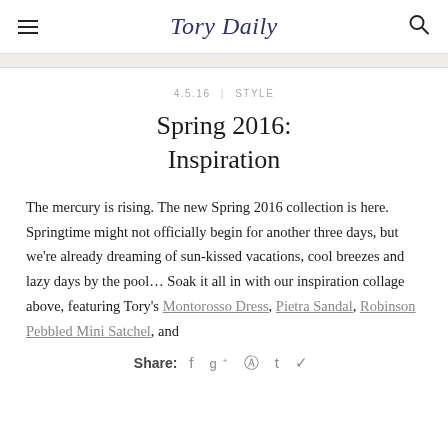Tory Daily
4.5.16  |  STYLE
Spring 2016: Inspiration
The mercury is rising. The new Spring 2016 collection is here. Springtime might not officially begin for another three days, but we're already dreaming of sun-kissed vacations, cool breezes and lazy days by the pool… Soak it all in with our inspiration collage above, featuring Tory's Montorosso Dress, Pietra Sandal, Robinson Pebbled Mini Satchel, and
Share:  f  g+  pinterest  t  twitter